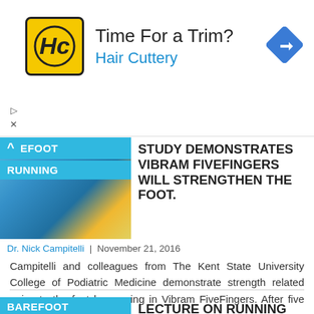[Figure (infographic): Hair Cuttery advertisement banner with logo, 'Time For a Trim?' headline, and navigation arrow icon]
[Figure (photo): Barefoot running category badge in blue with thumbnail of blue running shoes (Vibram FiveFingers)]
STUDY DEMONSTRATES VIBRAM FIVEFINGERS WILL STRENGTHEN THE FOOT.
Dr. Nick Campitelli  |  November 21, 2016
Campitelli and colleagues from The Kent State University College of Podiatric Medicine demonstrate strength related gains to the foot by running in Vibram FiveFingers. After five years of research,
Read More
[Figure (photo): Barefoot running category badge in blue with thumbnail of Rx prescription book]
LECTURE ON RUNNING SHOES FROM AMERICAN PODIATRIC MEDICAL